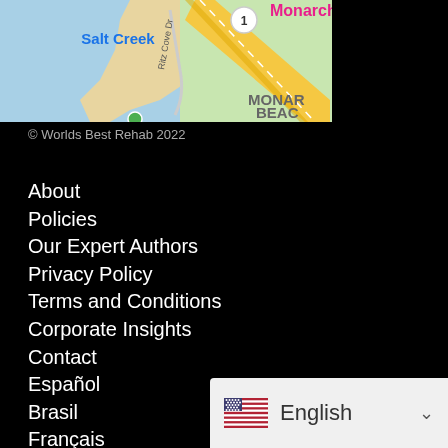[Figure (map): Google Maps screenshot showing Salt Creek coastal area with Ritz Cove Dr, highway 1, and Monarch Beach label visible]
© Worlds Best Rehab 2022
About
Policies
Our Expert Authors
Privacy Policy
Terms and Conditions
Corporate Insights
Contact
Español
Brasil
Français
Русский
Deutsch
Italiano
[Figure (screenshot): Language selector widget showing US flag and English with dropdown chevron]